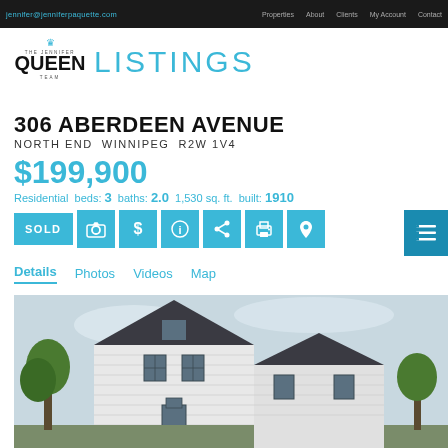jennifer@jenniferpaquette.com | Properties | About | Clients | My Account | Contact
THE JENNIFER QUEEN TEAM LISTINGS
306 ABERDEEN AVENUE
NORTH END WINNIPEG R2W 1V4
$199,900
Residential beds: 3 baths: 2.0 1,530 sq. ft. built: 1910
SOLD
Details Photos Videos Map
[Figure (photo): Exterior photo of a two-storey white house with dark roof and trim, trees in background]